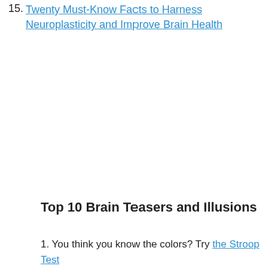15. Twenty Must-Know Facts to Harness Neuroplasticity and Improve Brain Health
Top 10 Brain Teasers and Illusions
1. You think you know the colors? Try the Stroop Test
2. Check out this brief attention experiment